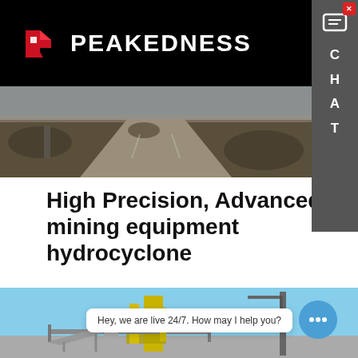PEAKEDNESS
[Figure (photo): Aerial view of a mining road/conveyor belt in a rocky terrain]
High Precision, Advanced mining equipment hydrocyclone
Mining Equipment CE/Iso Certificated Gold Stone Mining Bentonite Zircon Sand Stone Grinding Wet Ball Mill /Grindin…
Learn More
[Figure (photo): Mining equipment facility with yellow structure and crane against blue sky]
Hey, we are live 24/7. How may I help you?